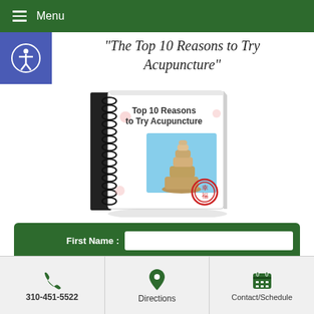Menu
"The Top 10 Reasons to Try Acupuncture"
[Figure (photo): A spiral-bound book titled 'Top 10 Reasons to Try Acupuncture' with an image of stacked stones and a red Chinese seal stamp on the cover.]
First Name :
Email Address :
310-451-5522 | Directions | Contact/Schedule